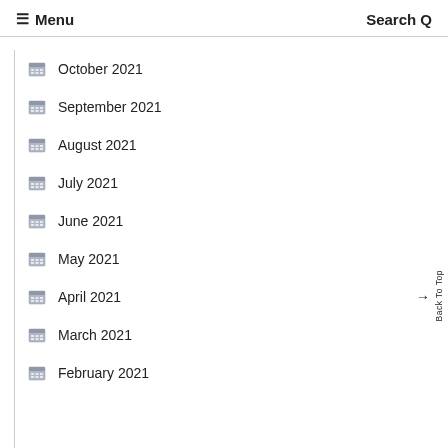≡ Menu   Search Q
October 2021
September 2021
August 2021
July 2021
June 2021
May 2021
April 2021
March 2021
February 2021